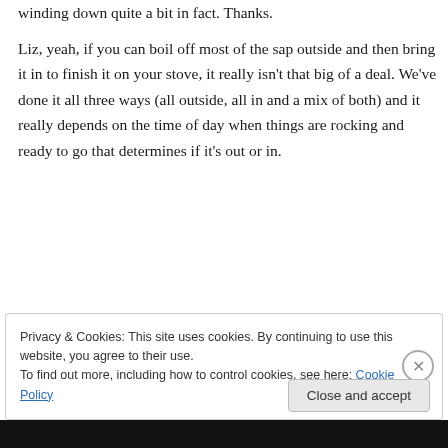winding down quite a bit in fact. Thanks.

Liz, yeah, if you can boil off most of the sap outside and then bring it in to finish it on your stove, it really isn't that big of a deal. We've done it all three ways (all outside, all in and a mix of both) and it really depends on the time of day when things are rocking and ready to go that determines if it's out or in.
↳ Reply
Privacy & Cookies: This site uses cookies. By continuing to use this website, you agree to their use.
To find out more, including how to control cookies, see here: Cookie Policy
Close and accept